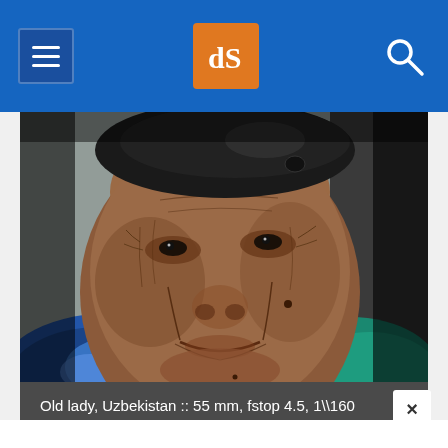dPS navigation bar with hamburger menu, dPS logo, and search icon
[Figure (photo): Close-up portrait of an elderly woman from Uzbekistan with deeply wrinkled face, dark eyes, wearing a dark headscarf and bright blue/teal garment, photographed against a grey wall background.]
Old lady, Uzbekistan :: 55 mm, fstop 4.5, 1\\160